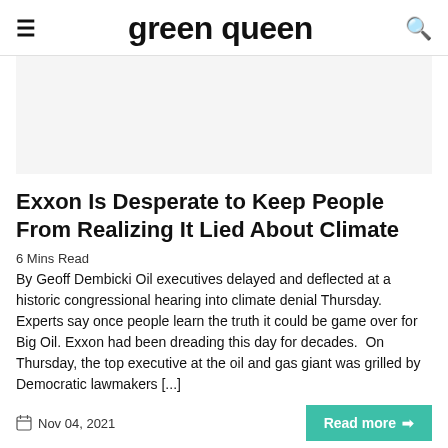green queen
[Figure (other): Advertisement placeholder area, light gray background]
Exxon Is Desperate to Keep People From Realizing It Lied About Climate
6 Mins Read
By Geoff Dembicki Oil executives delayed and deflected at a historic congressional hearing into climate denial Thursday. Experts say once people learn the truth it could be game over for Big Oil. Exxon had been dreading this day for decades.  On Thursday, the top executive at the oil and gas giant was grilled by Democratic lawmakers [...]
Nov 04, 2021